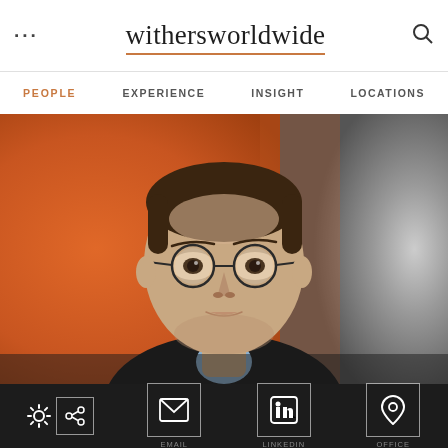... withersworldwide 🔍
PEOPLE  EXPERIENCE  INSIGHT  LOCATIONS
[Figure (photo): Professional headshot of a young man with round glasses wearing a dark suit and light blue shirt, photographed against a blurred orange background]
Clio icon | Email icon | LinkedIn icon | Location pin icon